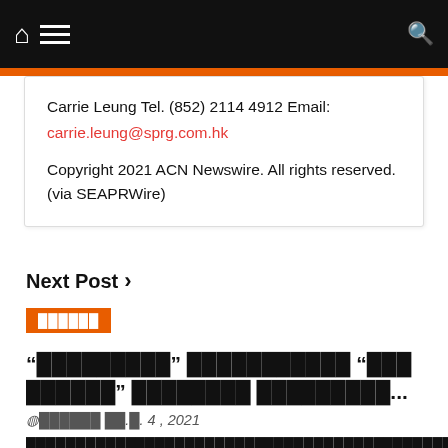Navigation bar with home, menu, and search icons
Carrie Leung Tel. (852) 2114 4912 Email:
carrie.leung@sprg.com.hk
Copyright 2021 ACN Newswire. All rights reserved. (via SEAPRWire)
Next Post >
██████
"██████████" ████████████ "███ ██████" █████████ █████████...
⊙██████ ██.█. 4 , 2021
████████████████████████████████████████████████